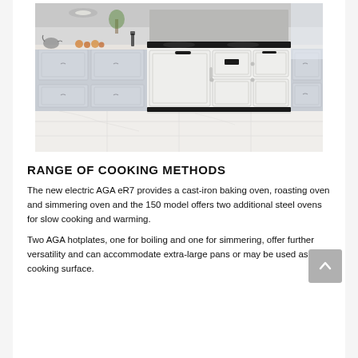[Figure (photo): A white AGA eR7 range cooker installed in a bright kitchen with light grey shaker-style cabinets, marble-look floor tiles, and a white worktop with fruit and a kettle visible.]
RANGE OF COOKING METHODS
The new electric AGA eR7 provides a cast-iron baking oven, roasting oven and simmering oven and the 150 model offers two additional steel ovens for slow cooking and warming.
Two AGA hotplates, one for boiling and one for simmering, offer further versatility and can accommodate extra-large pans or may be used as a cooking surface.